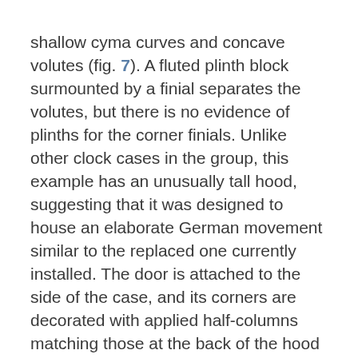shallow cyma curves and concave volutes (fig. 7). A fluted plinth block surmounted by a finial separates the volutes, but there is no evidence of plinths for the corner finials. Unlike other clock cases in the group, this example has an unusually tall hood, suggesting that it was designed to house an elaborate German movement similar to the replaced one currently installed. The door is attached to the side of the case, and its corners are decorated with applied half-columns matching those at the back of the hood (fig. 8). Wide light-wood inlay outlines the rectangular waist door and creates a diamond enclosure for a small, sulfur-inlaid star and the original owner's initials, “jj.” The maker also used sulfur to inlay the date directly below (fig. 9).
Although the identity of “jj” is unknown, the clock was once owned by J. George Hanner (1846–